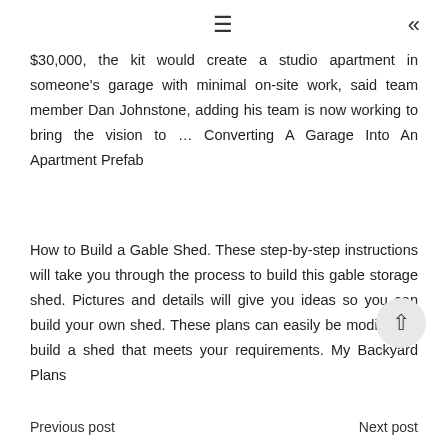≡  «
$30,000, the kit would create a studio apartment in someone's garage with minimal on-site work, said team member Dan Johnstone, adding his team is now working to bring the vision to ... Converting A Garage Into An Apartment Prefab
How to Build a Gable Shed. These step-by-step instructions will take you through the process to build this gable storage shed. Pictures and details will give you ideas so you can build your own shed. These plans can easily be modified to build a shed that meets your requirements. My Backyard Plans
Previous post    Next post